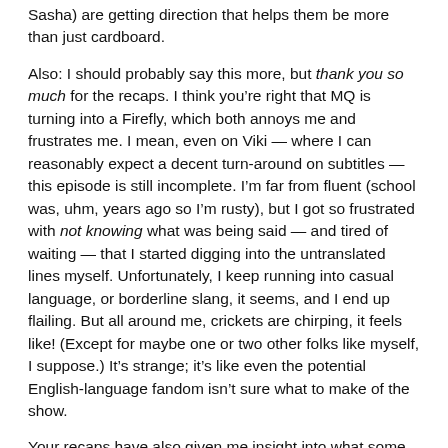Sasha) are getting direction that helps them be more than just cardboard.
Also: I should probably say this more, but thank you so much for the recaps. I think you’re right that MQ is turning into a Firefly, which both annoys me and frustrates me. I mean, even on Viki — where I can reasonably expect a decent turn-around on subtitles — this episode is still incomplete. I’m far from fluent (school was, uhm, years ago so I’m rusty), but I got so frustrated with not knowing what was being said — and tired of waiting — that I started digging into the untranslated lines myself. Unfortunately, I keep running into casual language, or borderline slang, it seems, and I end up flailing. But all around me, crickets are chirping, it feels like! (Except for maybe one or two other folks like myself, I suppose.) It’s strange; it’s like even the potential English-language fandom isn’t sure what to make of the show.
Your recaps have also given me insight into what some of those more opaque lines were supposed to mean. (Especially the bit about “winning the lottery” — those lines were killing me, just could not figure them out.) I know SUBlimes is doing